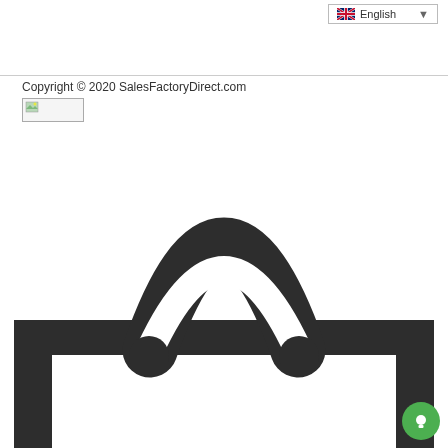English (language selector)
Copyright © 2020 SalesFactoryDirect.com
[Figure (illustration): Large shopping bag icon in dark charcoal/black, showing the top half of a shopping bag with a rounded arch handle and two small circles at the handle attachment points, and the rectangular bag body extending off the bottom of the page.]
[Figure (other): Green circular chat/messenger button in the bottom-right corner with a speech bubble icon.]